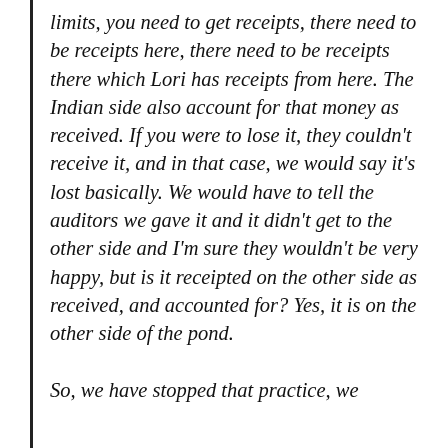limits, you need to get receipts, there need to be receipts here, there need to be receipts there which Lori has receipts from here. The Indian side also account for that money as received. If you were to lose it, they couldn't receive it, and in that case, we would say it's lost basically. We would have to tell the auditors we gave it and it didn't get to the other side and I'm sure they wouldn't be very happy, but is it receipted on the other side as received, and accounted for? Yes, it is on the other side of the pond.
So, we have stopped that practice, we